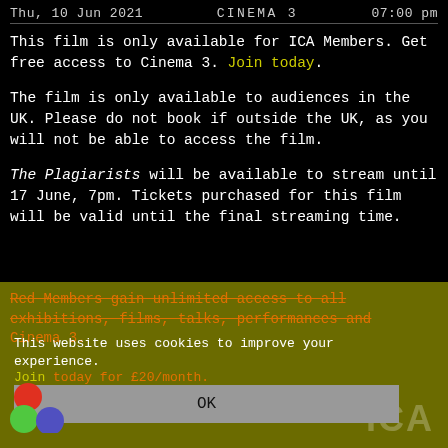Thu, 10 Jun 2021    CINEMA 3    07:00 pm
This film is only available for ICA Members. Get free access to Cinema 3. Join today.
The film is only available to audiences in the UK. Please do not book if outside the UK, as you will not be able to access the film.
The Plagiarists will be available to stream until 17 June, 7pm. Tickets purchased for this film will be valid until the final streaming time.
Red Members gain unlimited access to all exhibitions, films, talks, performances and Cinema 3.
This website uses cookies to improve your experience.
Join today for £20/month.
OK